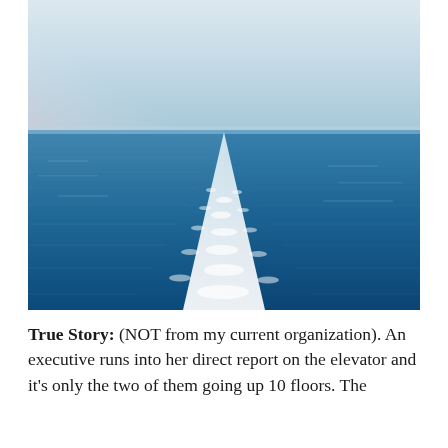[Figure (photo): Aerial view of a ship's wake on a deep blue ocean, with white foam trailing in a V-shape toward the horizon under a pale sky.]
True Story: (NOT from my current organization). An executive runs into her direct report on the elevator and it's only the two of them going up 10 floors. The